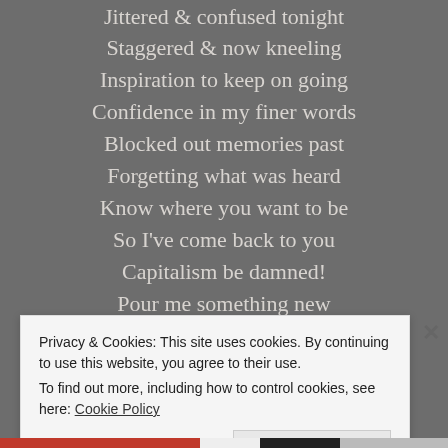Jittered & confused tonight
Staggered & now kneeling
Inspiration to keep on going
Confidence in my finer words
Blocked out memories past
Forgetting what was heard
Know where you want to be
So I've come back to you
Capitalism be damned!
Pour me something new
Privacy & Cookies: This site uses cookies. By continuing to use this website, you agree to their use.
To find out more, including how to control cookies, see here: Cookie Policy
Close and accept